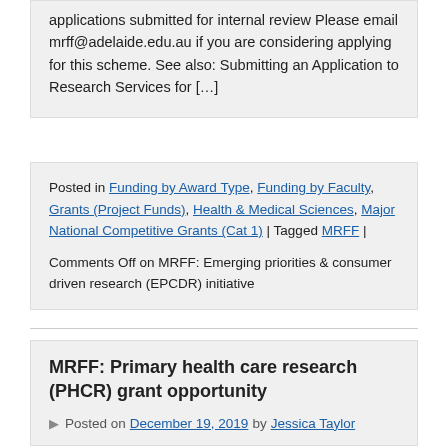applications submitted for internal review Please email mrff@adelaide.edu.au if you are considering applying for this scheme. See also: Submitting an Application to Research Services for […]
Posted in Funding by Award Type, Funding by Faculty, Grants (Project Funds), Health & Medical Sciences, Major National Competitive Grants (Cat 1) | Tagged MRFF |
Comments Off on MRFF: Emerging priorities & consumer driven research (EPCDR) initiative
MRFF: Primary health care research (PHCR) grant opportunity
Posted on December 19, 2019 by Jessica Taylor